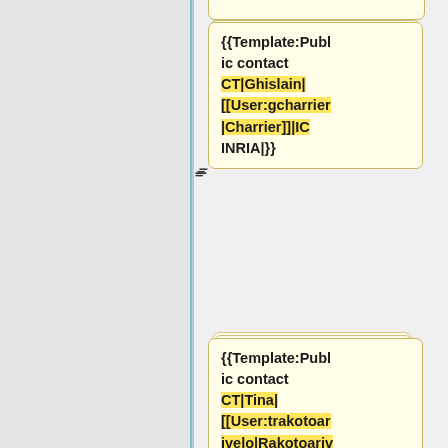{{Template:Public contact CT|Ghislain|[[User:gcharrier|Charrier]]|IC INRIA|}}
{{Template:Public contact CT|Tina|[[User:trakotoarivelo|Rakotoarivelo]]|IJD INRIA|}}
{{Template:Public contact CT|Mehrez|Alachheb|IJD INRIA}}
{{Template:Public contact CT|... (partial)